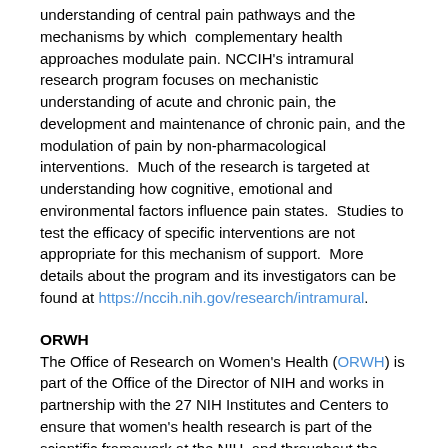understanding of central pain pathways and the mechanisms by which complementary health approaches modulate pain. NCCIH's intramural research program focuses on mechanistic understanding of acute and chronic pain, the development and maintenance of chronic pain, and the modulation of pain by non-pharmacological interventions.  Much of the research is targeted at understanding how cognitive, emotional and environmental factors influence pain states.  Studies to test the efficacy of specific interventions are not appropriate for this mechanism of support.  More details about the program and its investigators can be found at https://nccih.nih.gov/research/intramural.
ORWH
The Office of Research on Women's Health (ORWH) is part of the Office of the Director of NIH and works in partnership with the 27 NIH Institutes and Centers to ensure that women's health research is part of the scientific framework at the NIH, and throughout the scientific community.  ORWH has a research directive encompassing both the influence of sex and gender on health and disease, and the total health of women across the full spectrum of research. ORWH encourages interdisciplinary approaches in translating pre-clinical, basic research to clinical, and/or health services research, including behavioral research.